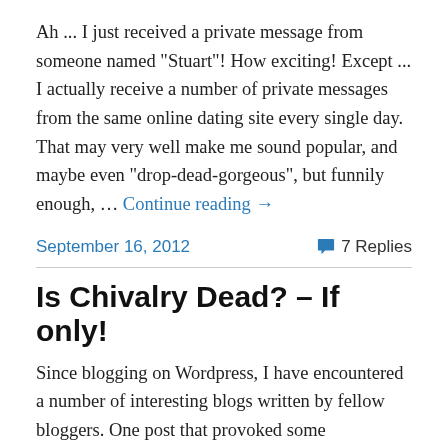Ah ... I just received a private message from someone named "Stuart"! How exciting! Except ... I actually receive a number of private messages from the same online dating site every single day. That may very well make me sound popular, and maybe even "drop-dead-gorgeous", but funnily enough, … Continue reading →
September 16, 2012
7 Replies
Is Chivalry Dead? – If only!
Since blogging on Wordpress, I have encountered a number of interesting blogs written by fellow bloggers. One post that provoked some disagreement was 'Chivalry – it's not just for knights', written by author, Stephen Liddell. Whilst I respect Stephen's views on the matter, I